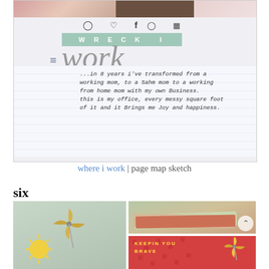[Figure (screenshot): Screenshot of a crafting/scrapbooking website called 'Where I Work' showing social icons, a decorative header with WRECK I text, a lined-paper background with handwritten text about transforming from working mom to SAHM to working-from-home mom, and a red label sticker reading 'february 2012']
where i work | page map sketch
six
[Figure (photo): Three craft/scrapbook photos: left shows a light green mini album cover with a pinwheel and sun embellishments; top right shows stacked colorful layered paper/album pages; bottom right shows a red polka-dot cover with yellow letters and floral embellishments]